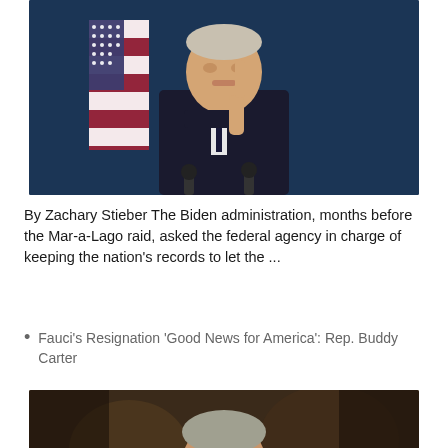[Figure (photo): President Biden in a dark suit with patterned tie, pointing with one finger, standing in front of an American flag against a dark blue background, with microphones visible at bottom]
By Zachary Stieber The Biden administration, months before the Mar-a-Lago raid, asked the federal agency in charge of keeping the nation's records to let the ...
Fauci's Resignation 'Good News for America': Rep. Buddy Carter
[Figure (photo): Close-up of Dr. Anthony Fauci with mouth open, looking upward, in a dimly lit setting]